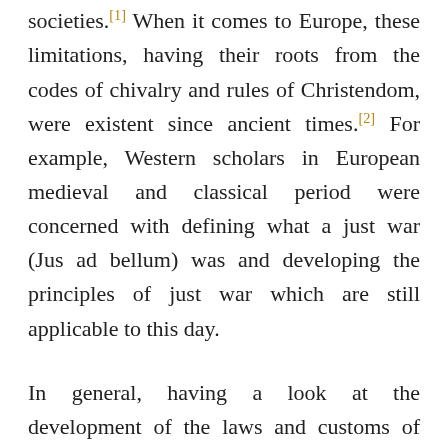societies.[1] When it comes to Europe, these limitations, having their roots from the codes of chivalry and rules of Christendom, were existent since ancient times.[2] For example, Western scholars in European medieval and classical period were concerned with defining what a just war (Jus ad bellum) was and developing the principles of just war which are still applicable to this day.
In general, having a look at the development of the laws and customs of war in Europe point to three principles that contributed to its growth. First, the principle that a belligerent should be justified